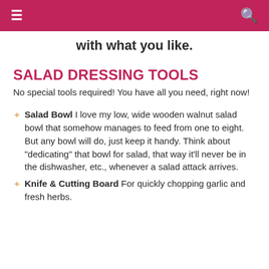≡  [hamburger menu]   [search icon]
with what you like.
SALAD DRESSING TOOLS
No special tools required! You have all you need, right now!
Salad Bowl I love my low, wide wooden walnut salad bowl that somehow manages to feed from one to eight. But any bowl will do, just keep it handy. Think about "dedicating" that bowl for salad, that way it'll never be in the dishwasher, etc., whenever a salad attack arrives.
Knife & Cutting Board For quickly chopping garlic and fresh herbs.